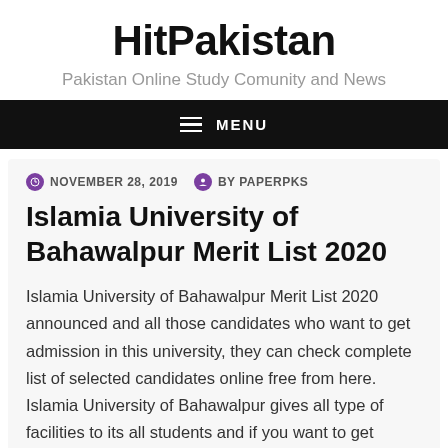HitPakistan
Pakistan Online Study Comunity and News
≡ MENU
NOVEMBER 28, 2019  BY PAPERPKS
Islamia University of Bahawalpur Merit List 2020
Islamia University of Bahawalpur Merit List 2020 announced and all those candidates who want to get admission in this university, they can check complete list of selected candidates online free from here. Islamia University of Bahawalpur gives all type of facilities to its all students and if you want to get admission here then